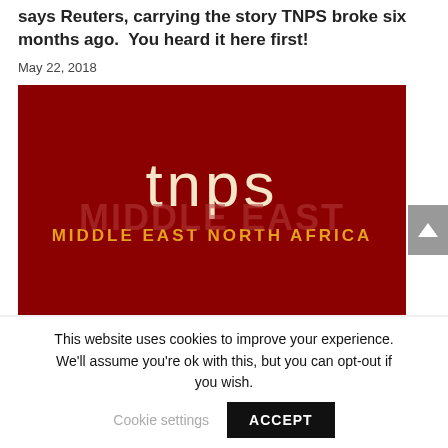says Reuters, carrying the story TNPS broke six months ago.  You heard it here first!
May 22, 2018
[Figure (logo): TNPS logo on dark red background with text 'tnps' in large light letters and 'MIDDLE EAST NORTH AFRICA' in gold below, with a faint watermark in the background.]
This website uses cookies to improve your experience. We'll assume you're ok with this, but you can opt-out if you wish. Cookie settings ACCEPT